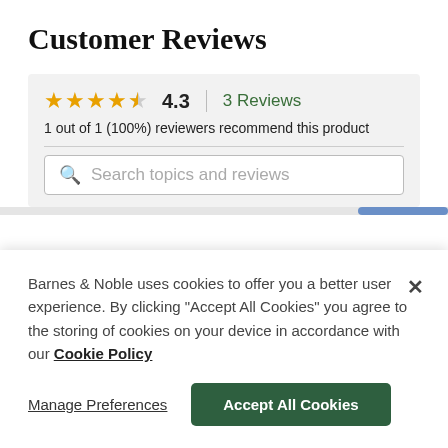Customer Reviews
★★★★☆ 4.3 | 3 Reviews
1 out of 1 (100%) reviewers recommend this product
Search topics and reviews
Barnes & Noble uses cookies to offer you a better user experience. By clicking "Accept All Cookies" you agree to the storing of cookies on your device in accordance with our Cookie Policy
Manage Preferences
Accept All Cookies